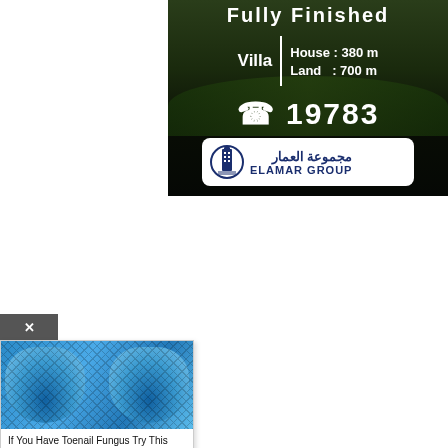[Figure (photo): Real estate advertisement photo with dark background showing a garden/outdoor area. Text overlay reads: Villa | House : 380 m / Land : 700 m, phone number 19783, and ELAMAR GROUP logo with Arabic text مجموعة العمار]
[Figure (photo): Advertisement popup showing blue-wrapped feet/toenails. Title: If You Have Toenail Fungus Try This Tonight (It's Genius!). Source: wellnessguide101.com. Learn More button.]